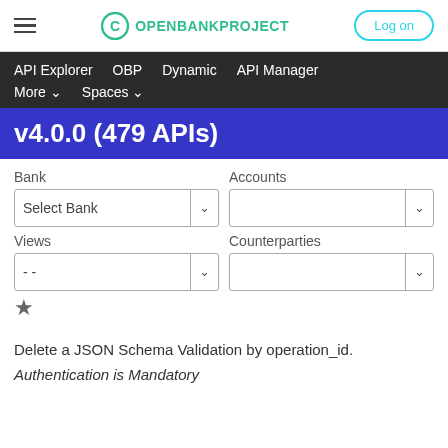OPENBANKPROJECT  Log on
API Explorer  OBP  Dynamic  API Manager  More  Spaces
v4.0.0 (479 APIs)
Bank  Select Bank  Accounts  Views  Counterparties
Delete a JSON Schema Validation by operation_id.
Authentication is Mandatory